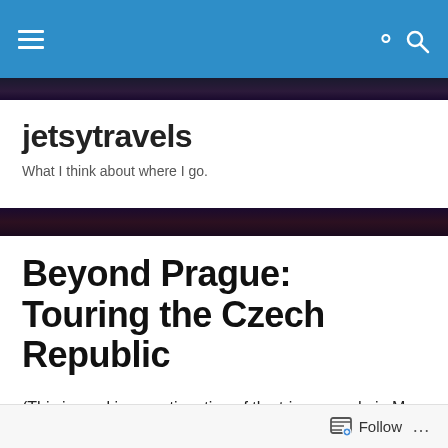jetsytravels navigation bar
jetsytravels
What I think about where I go.
Beyond Prague: Touring the Czech Republic
(This journal is a continuation of the trip we made in May 2015 to take a Viking River Cruise called “Cities of Light: From Paris to Prague”.  I am picking up here at the end of the cruise, which we followed with two additional days in Prague.  This is the end of that three-week trip.)
Follow